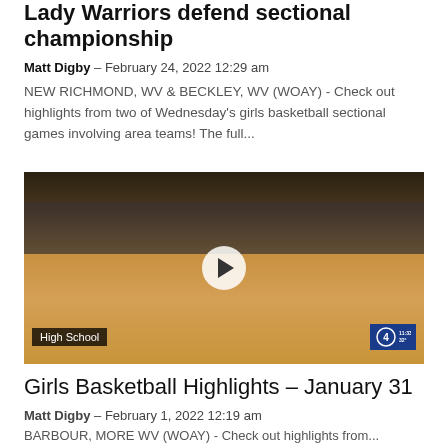Lady Warriors defend sectional championship
Matt Digby – February 24, 2022 12:29 am
NEW RICHMOND, WV & BECKLEY, WV (WOAY) - Check out highlights from two of Wednesday's girls basketball sectional games involving area teams! The full...
[Figure (photo): Video thumbnail of girls basketball game with play button overlay. Tag 'High School' visible bottom left. Station logo bottom right.]
Girls Basketball Highlights – January 31
Matt Digby – February 1, 2022 12:19 am
BARBOUR, MORE WV (WOAY) - Check out highlights from...